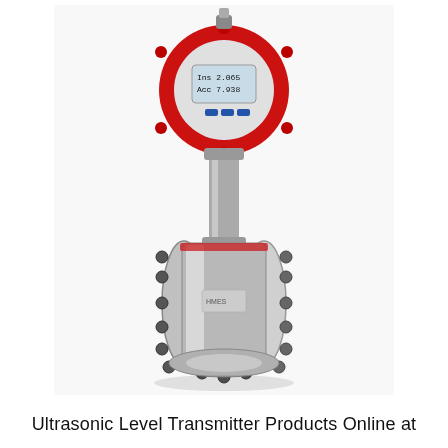[Figure (photo): Product photo of an ultrasonic flow meter / level transmitter. The device has a red circular housing at the top with a digital display showing 'Ins 2.065' and 'Acc 7.938', connected by a vertical grey metal stem to a large stainless steel flanged body with multiple bolts arranged circumferentially. The overall appearance is a professional industrial instrument.]
Ultrasonic Level Transmitter Products Online at